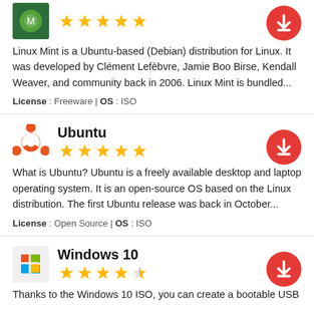[Figure (screenshot): Linux Mint app listing partial: icon, 5-star rating, description, license info, download button]
[Figure (screenshot): Ubuntu app listing: Ubuntu logo icon, title 'Ubuntu', 5-star rating, description text, license info, download button]
[Figure (screenshot): Windows 10 app listing: Windows icon, title 'Windows 10', 4.5-star rating, partial description, download button]